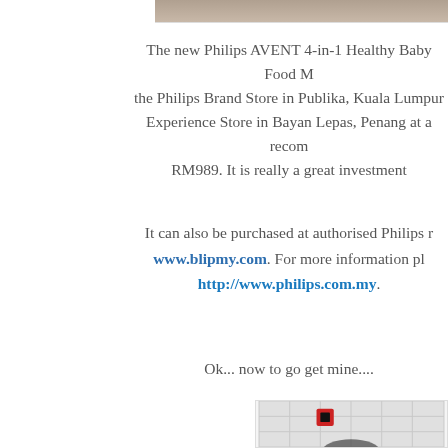[Figure (photo): Top portion of a product/scene photo, partially cropped at the top of the page]
The new Philips AVENT 4-in-1 Healthy Baby Food M... the Philips Brand Store in Publika, Kuala Lumpur... Experience Store in Bayan Lepas, Penang at a recom... RM989. It is really a great investment...
It can also be purchased at authorised Philips r... www.blipmy.com. For more information pl... http://www.philips.com.my.
Ok... now to go get mine....
[Figure (photo): Photo of a kitchen appliance (baby food maker) against white tile wall background with a red switch/socket visible]